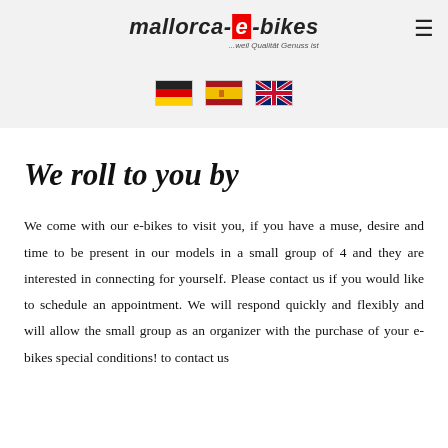mallorca-e-bikes ...weil Qualität Genuss ist
[Figure (illustration): Three country flags: German flag (black, red, gold), Spanish flag (red and yellow with coat of arms), and UK flag (Union Jack)]
We roll to you by
We come with our e-bikes to visit you, if you have a muse, desire and time to be present in our models in a small group of 4 and they are interested in connecting for yourself. Please contact us if you would like to schedule an appointment. We will respond quickly and flexibly and will allow the small group as an organizer with the purchase of your e-bikes special conditions! to contact us